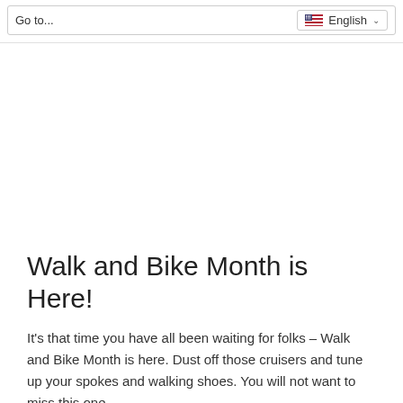Go to...   English
Walk and Bike Month is Here!
It's that time you have all been waiting for folks – Walk and Bike Month is here. Dust off those cruisers and tune up your spokes and walking shoes. You will not want to miss this one.